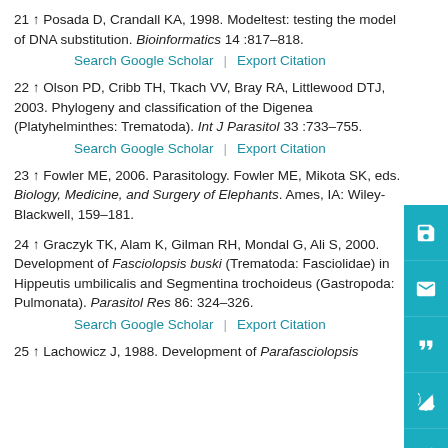21 ↑ Posada D, Crandall KA, 1998. Modeltest: testing the model of DNA substitution. Bioinformatics 14 :817–818.
Search Google Scholar | Export Citation
22 ↑ Olson PD, Cribb TH, Tkach VV, Bray RA, Littlewood DTJ, 2003. Phylogeny and classification of the Digenea (Platyhelminthes: Trematoda). Int J Parasitol 33 :733–755.
Search Google Scholar | Export Citation
23 ↑ Fowler ME, 2006. Parasitology. Fowler ME, Mikota SK, eds. Biology, Medicine, and Surgery of Elephants. Ames, IA: Wiley-Blackwell, 159–181.
24 ↑ Graczyk TK, Alam K, Gilman RH, Mondal G, Ali S, 2000. Development of Fasciolopsis buski (Trematoda: Fasciolidae) in Hippeutis umbilicalis and Segmentina trochoideus (Gastropoda: Pulmonata). Parasitol Res 86: 324–326.
Search Google Scholar | Export Citation
25 ↑ Lachowicz J, 1988. Development of Parafasciolopsis